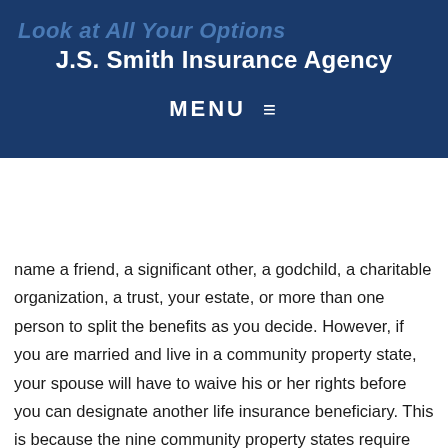Look at All Your Options
J.S. Smith Insurance Agency
MENU ≡
You are not limited to your spouse or children as beneficiaries on your life insurance policy. You could name a friend, a significant other, a godchild, a charitable organization, a trust, your estate, or more than one person to split the benefits as you decide. However, if you are married and live in a community property state, your spouse will have to waive his or her rights before you can designate another life insurance beneficiary. This is because the nine community property states require equal distribution of assets acquired during a marriage. Our experienced agent will be happy to advise you on your options.